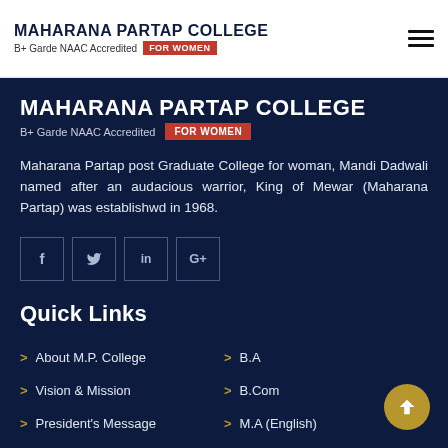MAHARANA PARTAP COLLEGE B+ Garde NAAC Accredited FOR WOMEN
MAHARANA PARTAP COLLEGE B+ Garde NAAC Accredited FOR WOMEN
Maharana Partap post Graduate College for woman, Mandi Dadwali named after an audacious warrior, King of Mewar (Maharana Partap) was establishwd in 1968.
[Figure (other): Social media icons: Facebook (f), Twitter (bird), LinkedIn (in), Google+ (G+)]
Quick Links
About M.P. College
B.A
Vision & Mission
B.Com
President's Message
M.A (English)